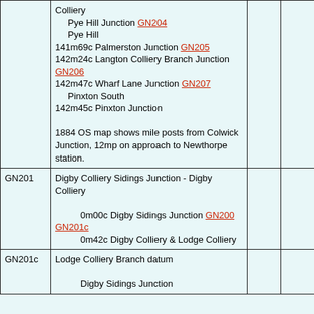| Code | Description |  |  |
| --- | --- | --- | --- |
|  | Colliery
  Pye Hill Junction GN204
  Pye Hill
141m69c Palmerston Junction GN205
142m24c Langton Colliery Branch Junction GN206
142m47c Wharf Lane Junction GN207
  Pinxton South
142m45c Pinxton Junction

1884 OS map shows mile posts from Colwick Junction, 12mp on approach to Newthorpe station. |  |  |
| GN201 | Digby Colliery Sidings Junction - Digby Colliery

        0m00c Digby Sidings Junction GN200 GN201c
        0m42c Digby Colliery & Lodge Colliery |  |  |
| GN201c | Lodge Colliery Branch datum

        Digby Sidings Junction |  |  |